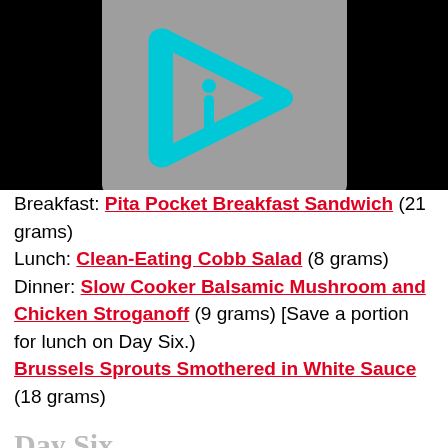[Figure (logo): Gray rectangular logo box with a cyan/teal play-button-style triangle with rounded corners and an 'i' inside it, on a black background]
Breakfast: Pita Pocket Breakfast Sandwich (21 grams)
Lunch: Clean-Eating Cobb Salad (8 grams)
Dinner: Slow Cooker Balsamic Mushroom and Chicken Stroganoff (9 grams) [Save a portion for lunch on Day Six.)
Brussels Sprouts Smothered in White Sauce (18 grams)
Day Six